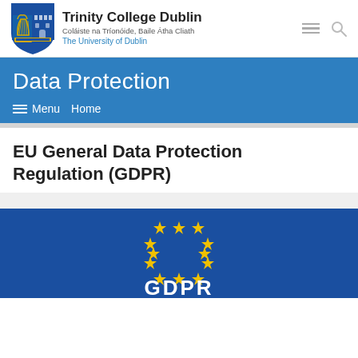Trinity College Dublin - Coláiste na Tríonóide, Baile Átha Cliath - The University of Dublin
Data Protection
≡ Menu   Home
EU General Data Protection Regulation (GDPR)
[Figure (logo): EU flag with yellow stars on blue background and GDPR text]